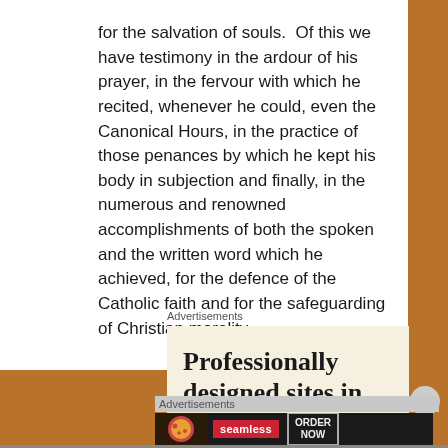for the salvation of souls. Of this we have testimony in the ardour of his prayer, in the fervour with which he recited, whenever he could, even the Canonical Hours, in the practice of those penances by which he kept his body in subjection and finally, in the numerous and renowned accomplishments of both the spoken and the written word which he achieved, for the defence of the Catholic faith and for the safeguarding of Christian morality.
Advertisements
[Figure (illustration): Advertisement box with cream/beige background showing text 'Professionally designed sites in less than a week' in large serif bold font]
Advertisements
[Figure (screenshot): Seamless food delivery advertisement banner with pizza image, red Seamless logo badge, and 'ORDER NOW' button on dark background]